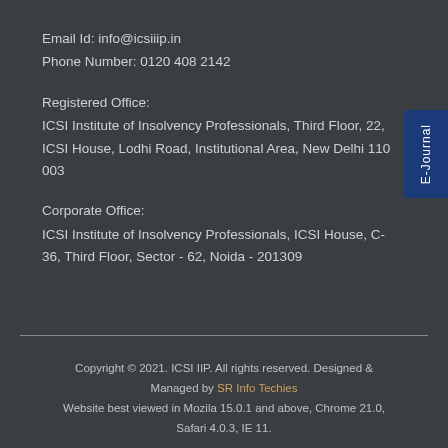Email Id: info@icsiiip.in
Phone Number: 0120 408 2142
Registered Office:
ICSI Institute of Insolvency Professionals, Third Floor, 22, ICSI House, Lodhi Road, Institutional Area, New Delhi 110 003
Corporate Office:
ICSI Institute of Insolvency Professionals, ICSI House, C-36, Third Floor, Sector - 62, Noida - 201309
Copyright © 2021. ICSI IIP. All rights reserved. Designed & Managed by SR Info Techies
Website best viewed in Mozila 15.0.1 and above, Chrome 21.0, Safari 4.0.3, IE 11.